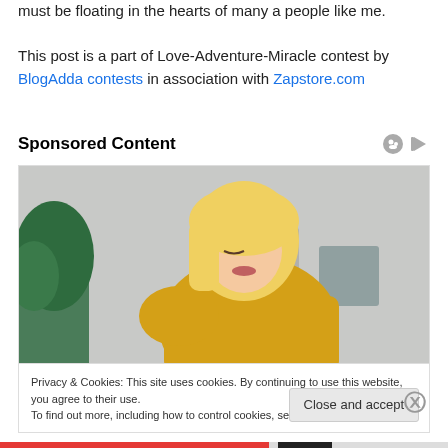must be floating in the hearts of many a people like me.
This post is a part of Love-Adventure-Miracle contest by BlogAdda contests in association with Zapstore.com
Sponsored Content
[Figure (photo): Blonde woman in yellow sweater looking down, with plants in background]
Privacy & Cookies: This site uses cookies. By continuing to use this website, you agree to their use.
To find out more, including how to control cookies, see here: Cookie Policy
Close and accept